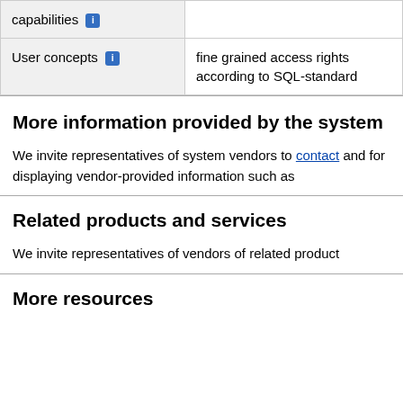| capabilities [i] |  |
| --- | --- |
| User concepts [i] | fine grained access rights according to SQL-standard |
More information provided by the system
We invite representatives of system vendors to contact and for displaying vendor-provided information such as
Related products and services
We invite representatives of vendors of related product
More resources